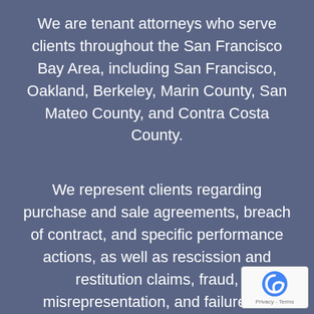We are tenant attorneys who serve clients throughout the San Francisco Bay Area, including San Francisco, Oakland, Berkeley, Marin County, San Mateo County, and Contra Costa County.
We represent clients regarding purchase and sale agreements, breach of contract, and specific performance actions, as well as rescission and restitution claims, fraud, misrepresentation, and failures to disclose in real estate transactions including claims by or against real estate agents, and brokers, claims by or against title insurance and escrow companies, condominium homeowner's associations (HOAs) and
[Figure (logo): reCAPTCHA badge with stylized 'c' logo and 'Privacy - Terms' text below]